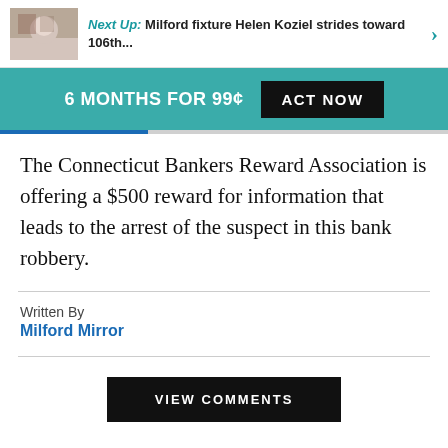Next Up: Milford fixture Helen Koziel strides toward 106th...
6 MONTHS FOR 99¢
ACT NOW
The Connecticut Bankers Reward Association is offering a $500 reward for information that leads to the arrest of the suspect in this bank robbery.
Written By
Milford Mirror
VIEW COMMENTS